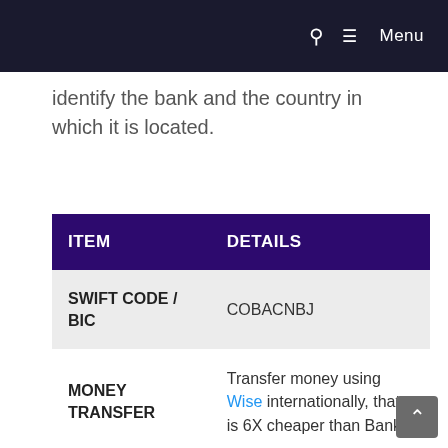🔍  ≡ Menu
identify the bank and the country in which it is located.
| ITEM | DETAILS |
| --- | --- |
| SWIFT CODE / BIC | COBACNBJ |
| MONEY TRANSFER | Transfer money using Wise internationally, that is 6X cheaper than Banks. |
| RECEIVE | Get paid/money using Wise at real Exchange... |